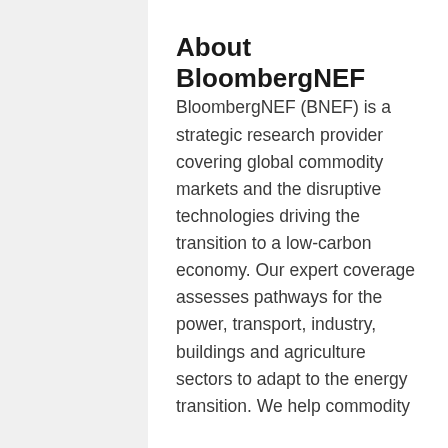About BloombergNEF
BloombergNEF (BNEF) is a strategic research provider covering global commodity markets and the disruptive technologies driving the transition to a low-carbon economy. Our expert coverage assesses pathways for the power, transport, industry, buildings and agriculture sectors to adapt to the energy transition. We help commodity